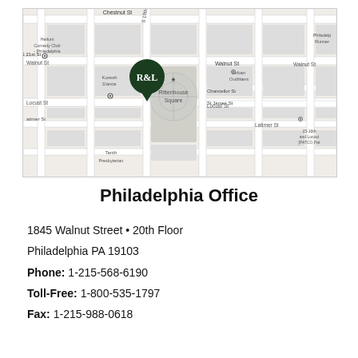[Figure (map): Street map of Philadelphia near Rittenhouse Square showing the R&L office location marked with a dark green pin at approximately 1845 Walnut Street. Nearby landmarks include Helium Comedy Club, Urban Outfitters, Koresh Dance, Rittenhouse Square, and various street labels (Chestnut St, Walnut St, Locust St, Latimer St, Chancellor St, St James St).]
Philadelphia Office
1845 Walnut Street • 20th Floor
Philadelphia PA 19103
Phone: 1-215-568-6190
Toll-Free: 1-800-535-1797
Fax: 1-215-988-0618